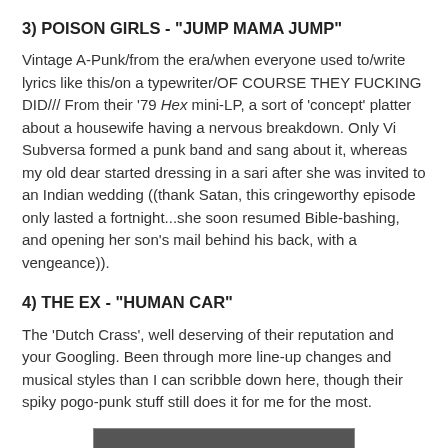3) POISON GIRLS - "JUMP MAMA JUMP"
Vintage A-Punk/from the era/when everyone used to/write lyrics like this/on a typewriter/OF COURSE THEY FUCKING DID/// From their '79 Hex mini-LP, a sort of 'concept' platter about a housewife having a nervous breakdown. Only Vi Subversa formed a punk band and sang about it, whereas my old dear started dressing in a sari after she was invited to an Indian wedding ((thank Satan, this cringeworthy episode only lasted a fortnight...she soon resumed Bible-bashing, and opening her son's mail behind his back, with a vengeance)).
4) THE EX - "HUMAN CAR"
The 'Dutch Crass', well deserving of their reputation and your Googling. Been through more line-up changes and musical styles than I can scribble down here, though their spiky pogo-punk stuff still does it for me for the most.
[Figure (photo): Partial photograph visible at the bottom of the page, appears to be a black and white image, cut off.]